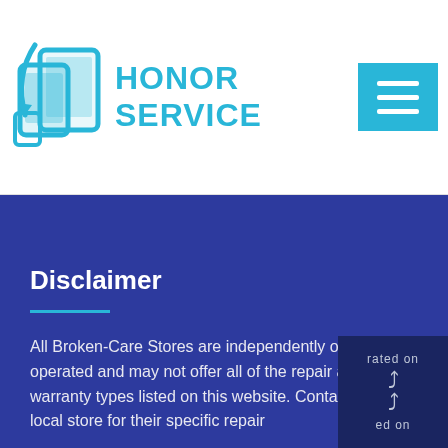HONOR SERVICE
Disclaimer
All Broken-Care Stores are independently owned and operated and may not offer all of the repair and warranty types listed on this website. Contact your local store for their specific repair